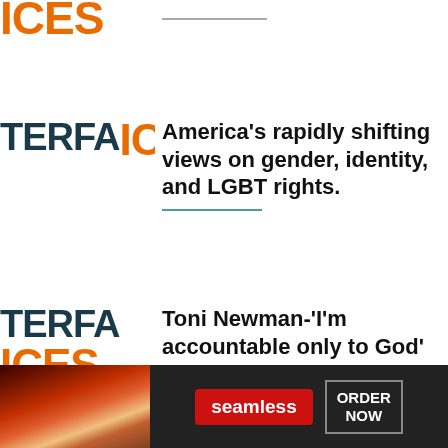[Figure (logo): Partial logo showing TERFACES/ICES in dark blue and orange, cropped at top]
America's rapidly shifting views on gender, identity, and LGBT rights.
[Figure (logo): Partial logo TERFACES/ICES in dark blue and orange]
Toni Newman-'I'm accountable only to God'
[Figure (logo): Partial logo REA in dark blue with chevron]
Trans in the Eyes of God: Part 1
[Figure (infographic): Seamless food delivery advertisement banner with pizza image, Seamless logo, and ORDER NOW button]